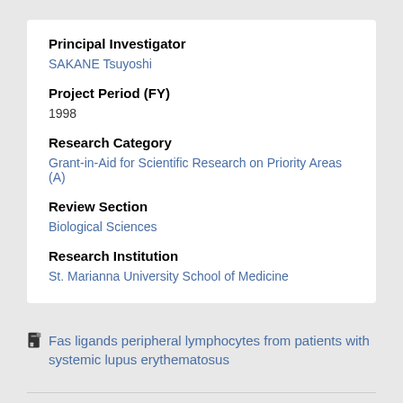Principal Investigator
SAKANE Tsuyoshi
Project Period (FY)
1998
Research Category
Grant-in-Aid for Scientific Research on Priority Areas (A)
Review Section
Biological Sciences
Research Institution
St. Marianna University School of Medicine
Fas ligands peripheral lymphocytes from patients with systemic lupus erythematosus